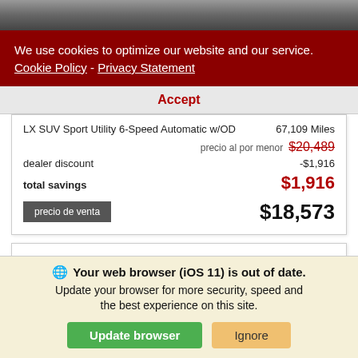[Figure (photo): Partial view of a car (SUV) from above/front, grey background]
We use cookies to optimize our website and our service.  Cookie Policy - Privacy Statement
Accept
| LX SUV Sport Utility 6-Speed Automatic w/OD | 67,109 Miles |
| precio al por menor | $20,489 |
| dealer discount | -$1,916 |
| total savings | $1,916 |
| precio de venta | $18,573 |
[Figure (screenshot): Empty white card placeholder area]
Your web browser (iOS 11) is out of date. Update your browser for more security, speed and the best experience on this site.
Update browser   Ignore